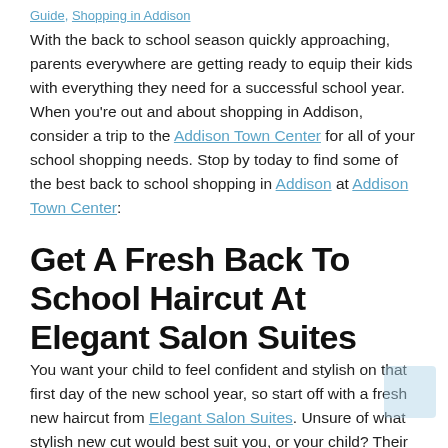Guide, Shopping in Addison
With the back to school season quickly approaching, parents everywhere are getting ready to equip their kids with everything they need for a successful school year. When you're out and about shopping in Addison, consider a trip to the Addison Town Center for all of your school shopping needs. Stop by today to find some of the best back to school shopping in Addison at Addison Town Center:
Get A Fresh Back To School Haircut At Elegant Salon Suites
You want your child to feel confident and stylish on that first day of the new school year, so start off with a fresh new haircut from Elegant Salon Suites. Unsure of what stylish new cut would best suit you, or your child? Their knowledgeable stylists can offer advice, to help you identify the best style to for your or your child's swimming